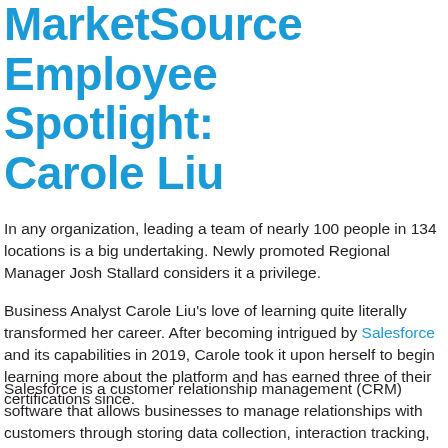MarketSource Employee Spotlight: Carole Liu
In any organization, leading a team of nearly 100 people in 134 locations is a big undertaking. Newly promoted Regional Manager Josh Stallard considers it a privilege.
Business Analyst Carole Liu's love of learning quite literally transformed her career. After becoming intrigued by Salesforce and its capabilities in 2019, Carole took it upon herself to begin learning more about the platform and has earned three of their certifications since.
Salesforce is a customer relationship management (CRM) software that allows businesses to manage relationships with customers through storing data collection, interaction tracking, and information sharing with coworkers. The partnership MarketSource has with